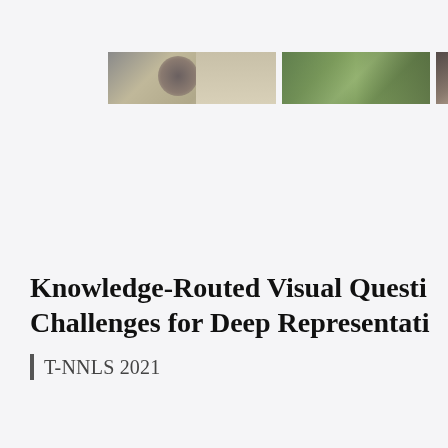[Figure (photo): A horizontal strip of three cropped photos side by side: first shows a person (partial view, blurred/muted tones), second shows greenery/trees in outdoor setting, third shows a partial indoor/outdoor scene with light tones.]
Knowledge-Routed Visual Questi Challenges for Deep Representati
T-NNLS 2021